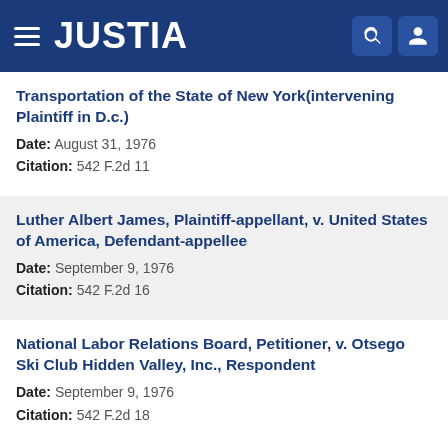JUSTIA
Transportation of the State of New York(intervening Plaintiff in D.c.)
Date: August 31, 1976
Citation: 542 F.2d 11
Luther Albert James, Plaintiff-appellant, v. United States of America, Defendant-appellee
Date: September 9, 1976
Citation: 542 F.2d 16
National Labor Relations Board, Petitioner, v. Otsego Ski Club Hidden Valley, Inc., Respondent
Date: September 9, 1976
Citation: 542 F.2d 18